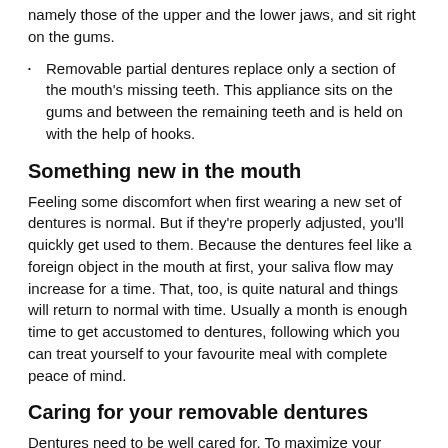namely those of the upper and the lower jaws, and sit right on the gums.
Removable partial dentures replace only a section of the mouth's missing teeth. This appliance sits on the gums and between the remaining teeth and is held on with the help of hooks.
Something new in the mouth
Feeling some discomfort when first wearing a new set of dentures is normal. But if they're properly adjusted, you'll quickly get used to them. Because the dentures feel like a foreign object in the mouth at first, your saliva flow may increase for a time. That, too, is quite natural and things will return to normal with time. Usually a month is enough time to get accustomed to dentures, following which you can treat yourself to your favourite meal with complete peace of mind.
Caring for your removable dentures
Dentures need to be well cared for. To maximize your investment and your oral health, good hygiene practices must be followed at all times.